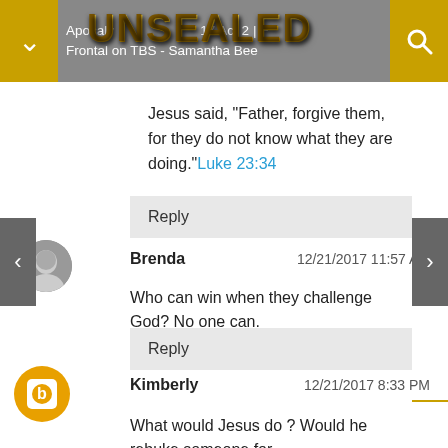Apocalypse... | Full Frontal on TBS - Samantha Bee | Act 2
[Figure (logo): UNSEALED logo in gold/metallic text overlaid on top navigation bar]
Jesus said, "Father, forgive them, for they do not know what they are doing." Luke 23:34
Reply
Brenda   12/21/2017 11:57 AM
Who can win when they challenge God? No one can.
Reply
Kimberly   12/21/2017 8:33 PM
What would Jesus do ? Would he rebuke someone for